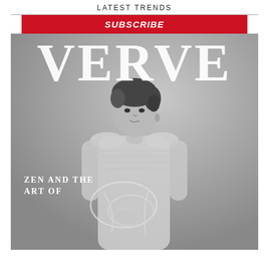LATEST TRENDS
SUBSCRIBE
[Figure (photo): Black and white magazine cover of VERVE magazine showing a woman in a ribbed knit outfit holding what appears to be a sculptural object. The large masthead 'VERVE' appears in white serif type. Subtitle reads 'ZEN AND THE ART OF'.]